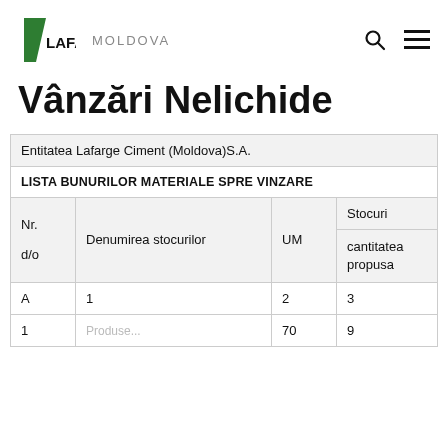LAFARGE MOLDOVA
Vânzări Nelichide
| Nr. d/o | Denumirea stocurilor | UM | Stocuri cantitatea propusa |
| --- | --- | --- | --- |
| Entitatea Lafarge Ciment (Moldova)S.A. |  |  |  |
| LISTA BUNURILOR MATERIALE SPRE VINZARE |  |  |  |
| Nr. |  |  | Stocuri |
| d/o | Denumirea stocurilor | UM | cantitatea propusa |
| A | 1 | 2 | 3 |
| 1 | Produse... | 70 | 9 |